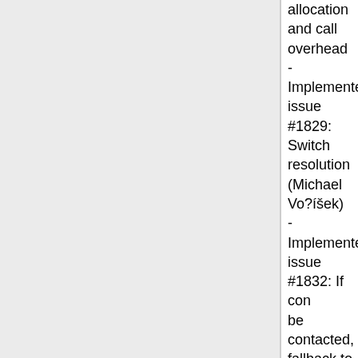allocation and call overhead
- Implemented issue #1829: Switch resolution (Michael Vo?íšek)
- Implemented issue #1832: If conn be contacted, fallback to remote_h
- Implemented issue #1858: Only d an actual message to log
- Implemented issue #1860: Allow set through an environment variab
- Implemented issue #1814: Don't when it's not needed
- Implemented issue #1835: Add c file name, to diagnostic page
- Implemented issue #1885: Chang settings to PHP_INI_SYSTEM|PH
- Implemented issue #1889: max_ only trigger in "develop" mode
- Removed features:
- Implemented issue #1795: Depre
- Implemented issue #1786: Remo to USER/USERNAME environmen
- Implemented issue #1809: Remo setting
- Implemented issue #1810: Remo xdebug_get_declared_vars()